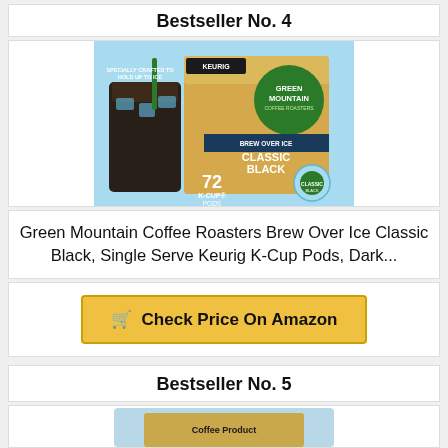Bestseller No. 4
[Figure (photo): Green Mountain Coffee Roasters Brew Over Ice Classic Black K-Cup Pods product box showing 72 K-Cup Pods with an iced coffee drink.]
Green Mountain Coffee Roasters Brew Over Ice Classic Black, Single Serve Keurig K-Cup Pods, Dark...
Check Price On Amazon
Bestseller No. 5
[Figure (photo): Partial product image at bottom of page.]